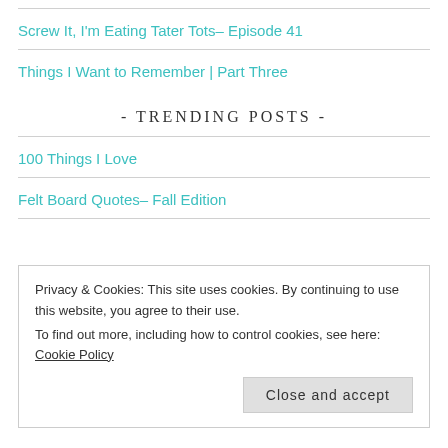Screw It, I'm Eating Tater Tots– Episode 41
Things I Want to Remember | Part Three
- Trending Posts -
100 Things I Love
Felt Board Quotes– Fall Edition
Privacy & Cookies: This site uses cookies. By continuing to use this website, you agree to their use.
To find out more, including how to control cookies, see here: Cookie Policy
Close and accept